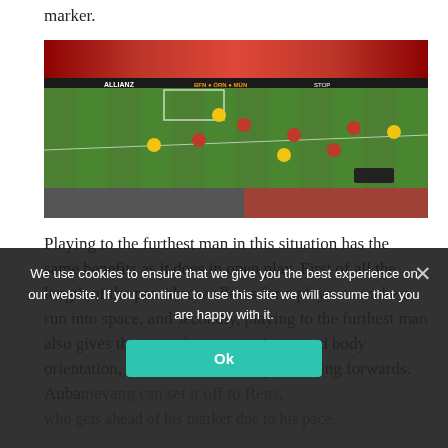marker.
[Figure (photo): A football match between Bayern Munich (red) and Borussia Dortmund (yellow/black) on a green pitch, with a full stadium crowd visible in the background.]
Playing to the furthest man in this situation has the same benefits as it does in open play. First of all the length of the pass/throw allows for a player to make a run into space, and secondly, playing to the furthest man also gives the secondary runner improved body orientation, and can arrive into space facing forwards. Aubameyang can set it off to Reus, who gets ahead of his marker due to his pace.
We use cookies to ensure that we give you the best experience on our website. If you continue to use this site we will assume that you are happy with it.
Ok